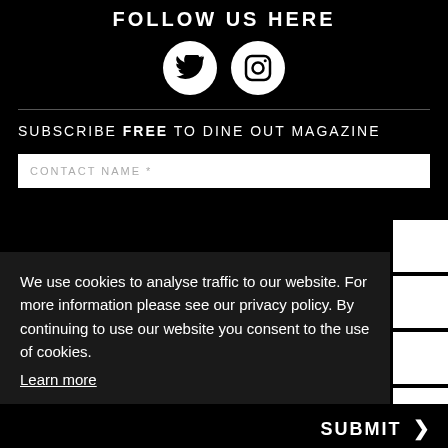FOLLOW US HERE
[Figure (illustration): Two white circular social media icons: Twitter bird logo and Instagram camera logo on black background]
SUBSCRIBE FREE TO DINE OUT MAGAZINE
CONTACT NAME *
We use cookies to analyse traffic to our website. For more information please see our privacy policy. By continuing to use our website you consent to the use of cookies.
Learn more
Got it!
SUBMIT >